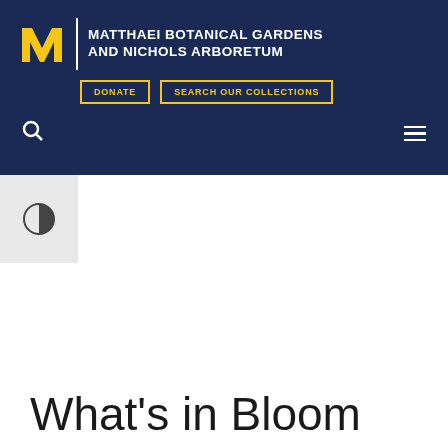MATTHAEI BOTANICAL GARDENS AND NICHOLS ARBORETUM
[Figure (logo): University of Michigan block M logo in gold on dark navy background]
DONATE
SEARCH OUR COLLECTIONS
[Figure (other): Half-circle contrast toggle icon (accessibility control) on light gray background]
What's in Bloom